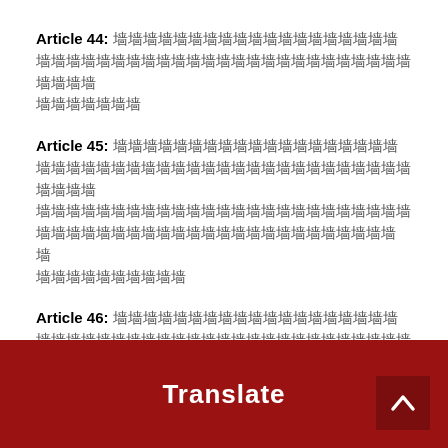Article 44: [redacted text]
Article 45: [redacted text]
Article 46: [redacted text with 7]
Article 47: [redacted text]
Article 48: [redacted text]
[Figure (other): Red translation bar overlay with 'Translate' button text and an up-arrow navigation button]